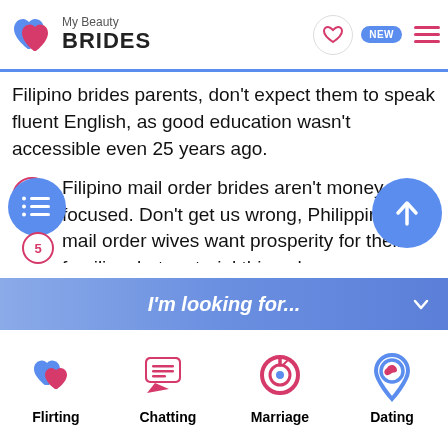My Beauty BRIDES
Filipino brides parents, don't expect them to speak fluent English, as good education wasn't accessible even 25 years ago.
4. Filipino mail order brides aren't money-focused. Don't get us wrong, Philippines mail order wives want prosperity for their families, but material things have never been their top priority. When looking for a potential husband, they look more at how he treats them, not a financial situation.
I'm looking for...
[Figure (illustration): Flirting icon - two hearts]
[Figure (illustration): Chatting icon - speech bubbles]
[Figure (illustration): Marriage icon - ring]
[Figure (illustration): Dating icon - location pin with heart]